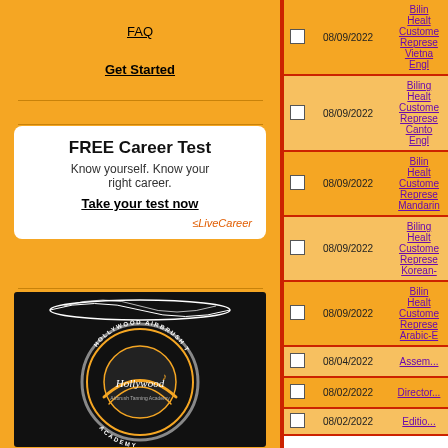FAQ
Get Started
[Figure (infographic): FREE Career Test advertisement box: 'Know yourself. Know your right career. Take your test now' with LiveCareer logo]
[Figure (photo): Hollywood Airbrush Tanning Academy circular logo on black background]
|  | Date | Job Title |
| --- | --- | --- |
| ☐ | 08/09/2022 | Biling... Health... Customer... Represe... Vietna... Engl... |
| ☐ | 08/09/2022 | Biling... Health... Customer... Represe... Canto... Engl... |
| ☐ | 08/09/2022 | Bilin... Health... Customer... Represe... Mandarin... |
| ☐ | 08/09/2022 | Biling... Health... Customer... Represe... Korean-... |
| ☐ | 08/09/2022 | Bilin... Health... Customer... Represe... Arabic-E... |
| ☐ | 08/04/2022 | Assem... |
| ☐ | 08/02/2022 | Director... |
| ☐ | 08/02/2022 | Editio... |